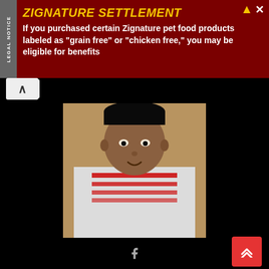[Figure (infographic): Advertisement banner for Zignature Settlement legal notice with yellow title and white body text on dark red background]
[Figure (photo): Profile photo of Adeseye Emmanuel (MhiztaEmy), a young man wearing a patterned shirt]
I'm Adeseye Emmanuel (MhiztaEmy), the sole owner and editor of wapnaijalog.com.ng and mhiztaemy.com.ng. I'm a Blogger | Promoter | Publisher | Advertiser | Entertainer | Engineer.
<--- WHATSAPP NUMBER +2347038615021--->
[Figure (infographic): Three red circular social media icons: Facebook, Instagram, WhatsApp]